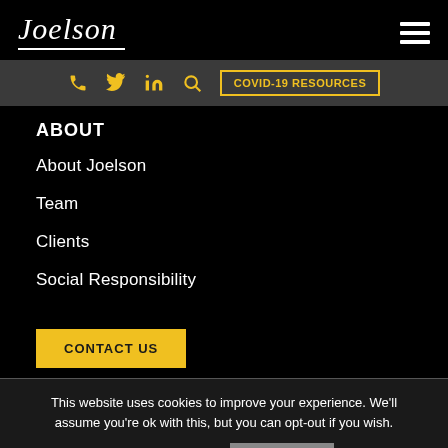Joelson
[Figure (infographic): Navigation bar with phone, Twitter, LinkedIn, search icons in yellow and COVID-19 Resources button with yellow border]
ABOUT
About Joelson
Team
Clients
Social Responsibility
CONTACT US
This website uses cookies to improve your experience. We'll assume you're ok with this, but you can opt-out if you wish.
Cookie settings   ACCEPT